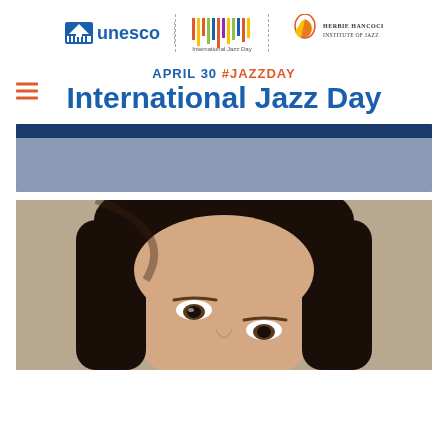[Figure (logo): UNESCO logo, International Jazz Day logo, and Herbie Hancock Institute of Jazz logo arranged horizontally with dashed vertical dividers]
APRIL 30 #JAZZDAY
International Jazz Day
[Figure (photo): A blurred/placeholder photo banner with dark blue top bar and gray body]
[Figure (photo): Close-up portrait photo of a woman with dark hair]